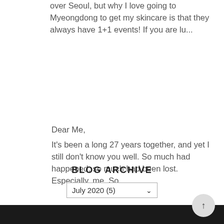over Seoul, but why I love going to Myeongdong to get my skincare is that they always have 1+1 events! If you are lu...
Dear Me,
It's been a long 27 years together, and yet I still don't know you well. So much had happened, so much had been lost. Especially, me. So...
BLOG ARCHIVE
July 2020 (5)